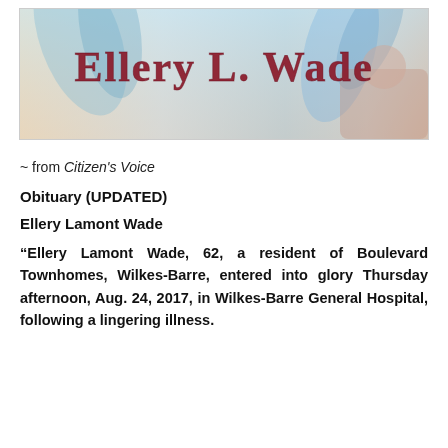[Figure (illustration): Decorative header image with a soft blue and cream background featuring feathers or floral elements, with stylized text reading 'Ellery L. Wade' in an ornate serif font with red/maroon coloring]
~ from Citizen's Voice
Obituary (UPDATED)
Ellery Lamont Wade
“Ellery Lamont Wade, 62, a resident of Boulevard Townhomes, Wilkes-Barre, entered into glory Thursday afternoon, Aug. 24, 2017, in Wilkes-Barre General Hospital, following a lingering illness.